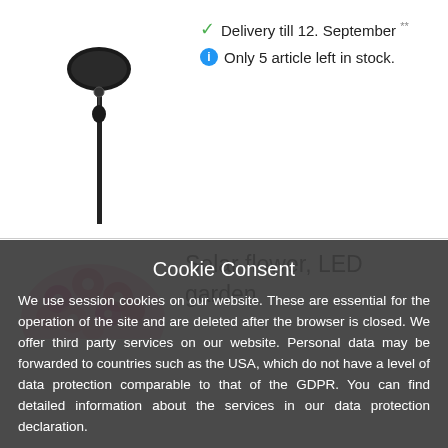[Figure (photo): Solar garden light product image showing a black oval solar panel on a stake with a small hanging element]
Delivery till 12. September ** Only 5 article left in stock.
[Figure (photo): Pink floral ball decoration, partially visible at bottom-left]
Solar flower, LED garden
Cookie Consent
We use session cookies on our website. These are essential for the operation of the site and are deleted after the browser is closed. We offer third party services on our website. Personal data may be forwarded to countries such as the USA, which do not have a level of data protection comparable to that of the GDPR. You can find detailed information about the services in our data protection declaration.
Data protection
Roger that